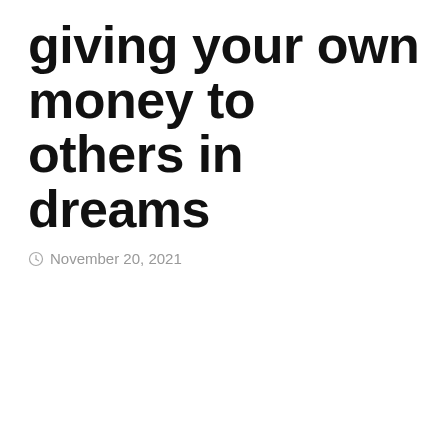giving your own money to others in dreams
November 20, 2021